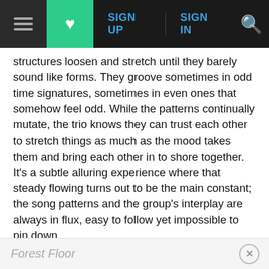[Figure (screenshot): Navigation bar with hamburger menu, green heart button, SIGN UP, SIGN IN links in blue, and orange search icon]
structures loosen and stretch until they barely sound like forms. They groove sometimes in odd time signatures, sometimes in even ones that somehow feel odd. While the patterns continually mutate, the trio knows they can trust each other to stretch things as much as the mood takes them and bring each other in to shore together. It's a subtle alluring experience where that steady flowing turns out to be the main constant; the song patterns and the group's interplay are always in flux, easy to follow yet impossible to pin down.
Tracks And Personnel
Forest Floor